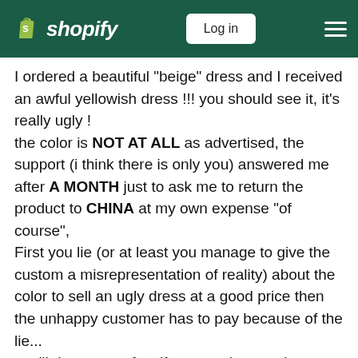Shopify — Log in
I ordered a beautiful "beige" dress and I received an awful yellowish dress !!! you should see it, it's really ugly !
the color is NOT AT ALL as advertised, the support (i think there is only you) answered me after A MONTH just to ask me to return the product to CHINA at my own expense "of course",
First you lie (or at least you manage to give the custom a misrepresentation of reality) about the color to sell an ugly dress at a good price then the unhappy customer has to pay because of the lie...
you'll drown very fast if you continue to do business like that, at the moment you are just polluting the e-commerce market !